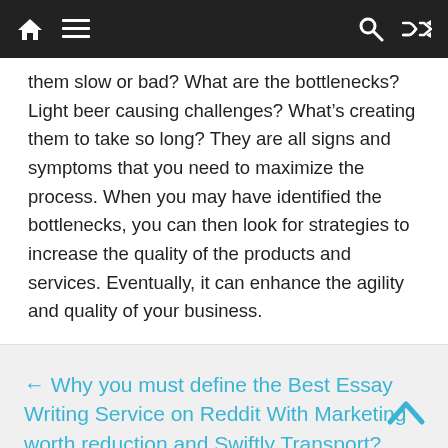Navigation bar with home, menu, search, and shuffle icons
them slow or bad? What are the bottlenecks? Light beer causing challenges? What's creating them to take so long? They are all signs and symptoms that you need to maximize the process. When you may have identified the bottlenecks, you can then look for strategies to increase the quality of the products and services. Eventually, it can enhance the agility and quality of your business.
← Why you must define the Best Essay Writing Service on Reddit With Marketing worth reduction and Swiftly Transport?